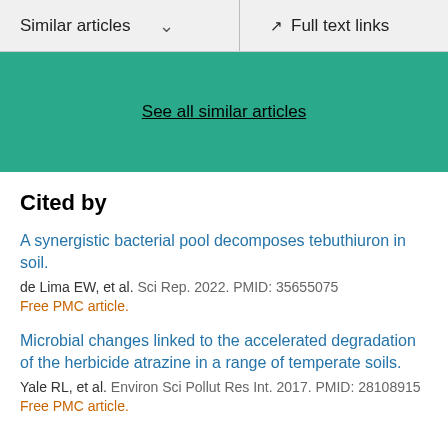Similar articles  ∨    Full text links
See all similar articles
Cited by
A synergistic bacterial pool decomposes tebuthiuron in soil.
de Lima EW, et al. Sci Rep. 2022. PMID: 35655075
Free PMC article.
Microbial changes linked to the accelerated degradation of the herbicide atrazine in a range of temperate soils.
Yale RL, et al. Environ Sci Pollut Res Int. 2017. PMID: 28108915
Free PMC article.